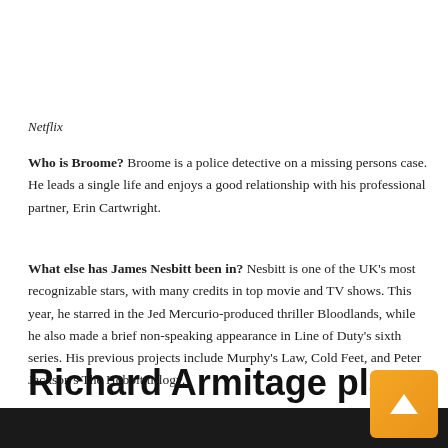Netflix
Who is Broome? Broome is a police detective on a missing persons case. He leads a single life and enjoys a good relationship with his professional partner, Erin Cartwright.
What else has James Nesbitt been in? Nesbitt is one of the UK’s most recognizable stars, with many credits in top movie and TV shows. This year, he starred in the Jed Mercurio-produced thriller Bloodlands, while he also made a brief non-speaking appearance in Line of Duty’s sixth series. His previous projects include Murphy’s Law, Cold Feet, and Peter Jackson’s The Hobbit trilogy.
Richard Armitage plays Ra…